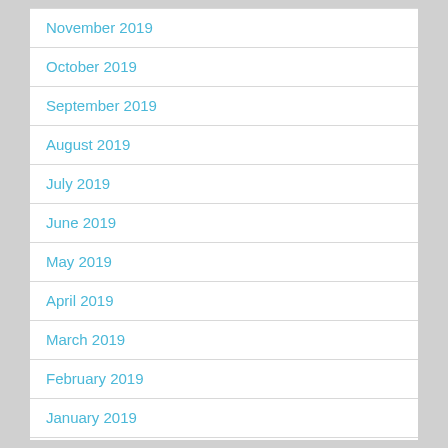November 2019
October 2019
September 2019
August 2019
July 2019
June 2019
May 2019
April 2019
March 2019
February 2019
January 2019
December 2018